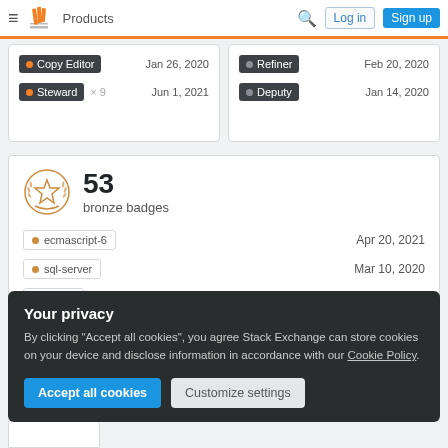≡  Products   🔍  Log in  Sign up
Copy Editor  Jan 26, 2020 | Refiner  Feb 20, 2020
Steward × 9  Jun 1, 2021 | Deputy  Jan 14, 2020
53 bronze badges
ecmascript-6  Apr 20, 2021
sql-server  Mar 10, 2020
arrays  Mar 25, 2021
Your privacy
By clicking "Accept all cookies", you agree Stack Exchange can store cookies on your device and disclose information in accordance with our Cookie Policy.
Accept all cookies
Customize settings